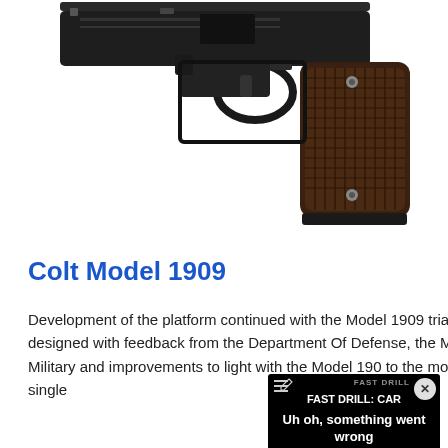[Figure (photo): Partial view of a Colt pistol (Model 1909 era), showing the grip, trigger guard, and upper receiver against a white background. The brown checkered wooden grip panels and dark metal frame are visible.]
Colt Model 1909
Development of the platform continued with the Model 1909 trials pistol designed with feedback from the Department Of D[efense, building on] the Model 1902 Military a[nd improvements] to light with the Model 190[...] to the more familiar single [...]
[Figure (screenshot): A video player overlay widget showing an error state. Header reads 'FAST DRILL: CAR' with a menu/hamburger icon and pencil icon. Error message: 'Uh oh, something went wrong'. Controls bar at bottom shows muted volume icon, play button, timeline with dot, X/close control, time '0:00', and fullscreen icon. A circular X close button appears top right.]